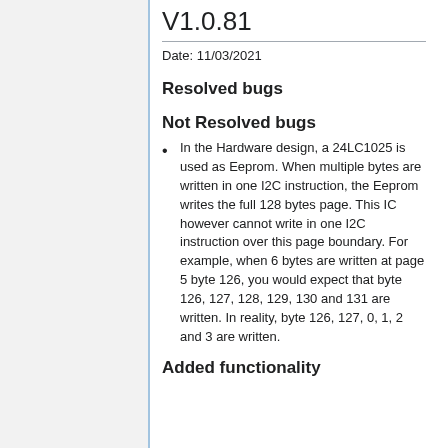V1.0.81
Date: 11/03/2021
Resolved bugs
Not Resolved bugs
In the Hardware design, a 24LC1025 is used as Eeprom. When multiple bytes are written in one I2C instruction, the Eeprom writes the full 128 bytes page. This IC however cannot write in one I2C instruction over this page boundary. For example, when 6 bytes are written at page 5 byte 126, you would expect that byte 126, 127, 128, 129, 130 and 131 are written. In reality, byte 126, 127, 0, 1, 2 and 3 are written.
Added functionality